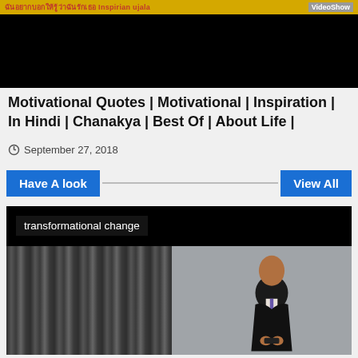[Figure (screenshot): Black video thumbnail with yellow/white banner at top showing Hindi text and VideoShow watermark]
Motivational Quotes | Motivational | Inspiration | In Hindi | Chanakya | Best Of | About Life |
September 27, 2018
Have A look
View All
[Figure (screenshot): Video thumbnail showing a man in a dark suit giving a presentation. Text overlay reads 'transformational change'. Background shows grey curtains on left and grey wall on right.]